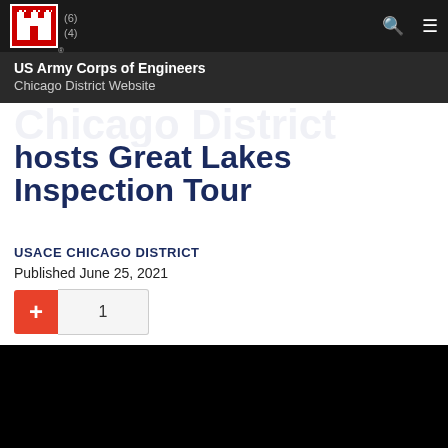US Army Corps of Engineers Chicago District Website
Chicago District hosts Great Lakes Inspection Tour
USACE CHICAGO DISTRICT
Published June 25, 2021
[Figure (photo): Black video thumbnail area at bottom of page]